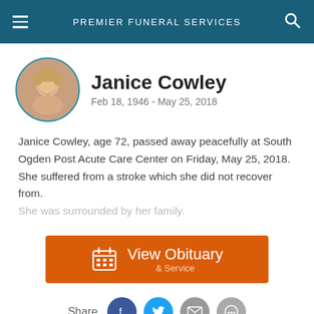PREMIER FUNERAL SERVICES
Janice Cowley
Feb 18, 1946 - May 25, 2018
Janice Cowley, age 72, passed away peacefully at South Ogden Post Acute Care Center on Friday, May 25, 2018. She suffered from a stroke which she did not recover from. She was surrounded by her family.
View Obituary & Service
Share